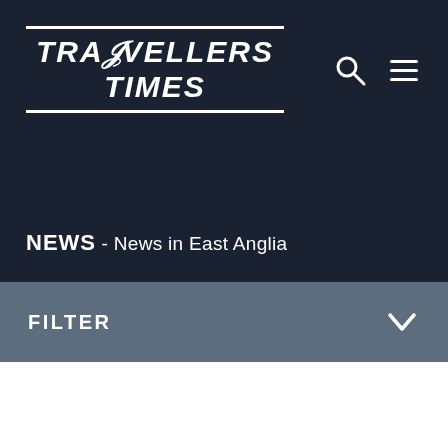TRAVELLERS TIMES
NEWS - News in East Anglia
FILTER